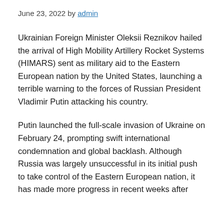June 23, 2022 by admin
Ukrainian Foreign Minister Oleksii Reznikov hailed the arrival of High Mobility Artillery Rocket Systems (HIMARS) sent as military aid to the Eastern European nation by the United States, launching a terrible warning to the forces of Russian President Vladimir Putin attacking his country.
Putin launched the full-scale invasion of Ukraine on February 24, prompting swift international condemnation and global backlash. Although Russia was largely unsuccessful in its initial push to take control of the Eastern European nation, it has made more progress in recent weeks after